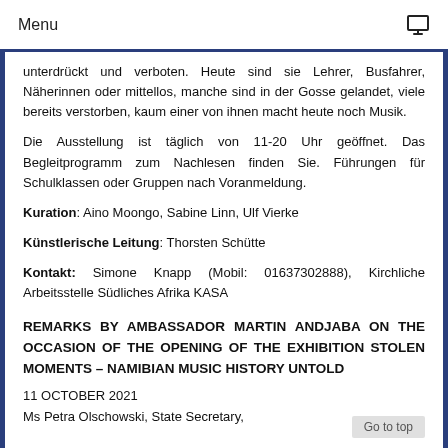Menu
unterdrückt und verboten. Heute sind sie Lehrer, Busfahrer, Näherinnen oder mittellos, manche sind in der Gosse gelandet, viele bereits verstorben, kaum einer von ihnen macht heute noch Musik.
Die Ausstellung ist täglich von 11-20 Uhr geöffnet. Das Begleitprogramm zum Nachlesen finden Sie. Führungen für Schulklassen oder Gruppen nach Voranmeldung.
Kuration: Aino Moongo, Sabine Linn, Ulf Vierke
Künstlerische Leitung: Thorsten Schütte
Kontakt: Simone Knapp (Mobil: 01637302888), Kirchliche Arbeitsstelle Südliches Afrika KASA
REMARKS BY AMBASSADOR MARTIN ANDJABA ON THE OCCASION OF THE OPENING OF THE EXHIBITION STOLEN MOMENTS – NAMIBIAN MUSIC HISTORY UNTOLD
11 OCTOBER 2021
Ms Petra Olschowski, State Secretary,